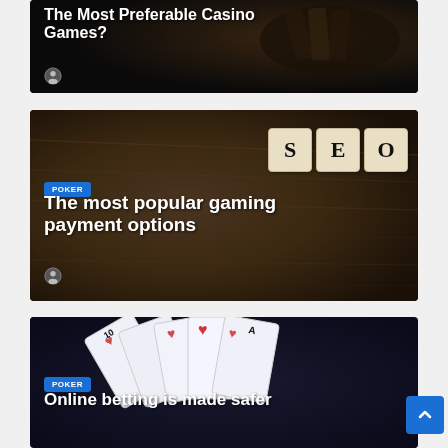[Figure (photo): Dark background with hands holding playing cards — article card image]
The Most Preferable Casino Games?
[Figure (photo): Wooden table background with three Scrabble letter tiles spelling SEO — article card image with POKER badge]
POKER
The most popular gaming payment options
[Figure (photo): Playing cards fan (10 through Ace of hearts) on dark background — article card image with POKER badge]
POKER
Online betting is made safer